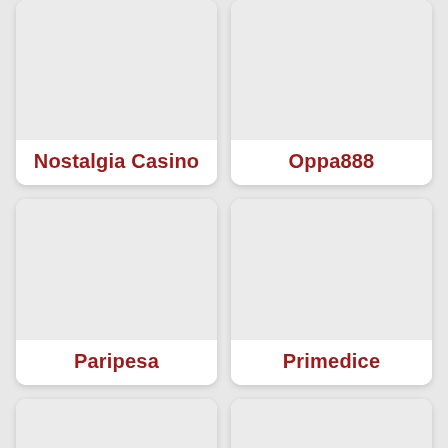[Figure (other): Card with light gray image placeholder for Nostalgia Casino]
Nostalgia Casino
[Figure (other): Card with light gray image placeholder for Oppa888]
Oppa888
[Figure (other): Card with light gray image placeholder for Paripesa]
Paripesa
[Figure (other): Card with light gray image placeholder for Primedice]
Primedice
[Figure (other): Partial card with light gray image placeholder, no label visible (bottom left)]
[Figure (other): Partial card with light gray image placeholder, no label visible (bottom right)]